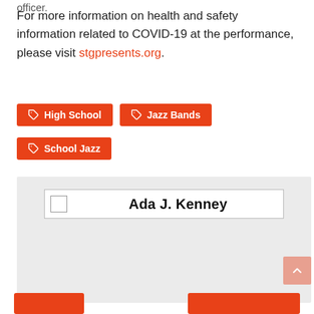For more information on health and safety information related to COVID-19 at the performance, please visit stgpresents.org.
High School
Jazz Bands
School Jazz
[Figure (other): Author card with checkbox and name field showing 'Ada J. Kenney' on a gray background]
Ada J. Kenney